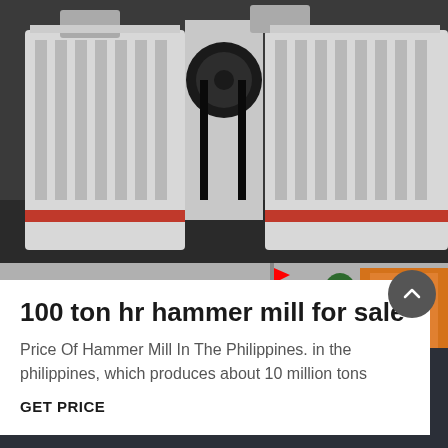[Figure (photo): Industrial hammer mill machinery, large white metal crushing equipment with belt drive, viewed from front, on factory floor]
100 ton hr hammer mill for sale phi
Price Of Hammer Mill In The Philippines. in the philippines, which produces about 10 million tons
GET PRICE
[Figure (photo): Industrial cone crushers and equipment in outdoor factory yard with building in background]
Online  Get Quotation  Online Chat